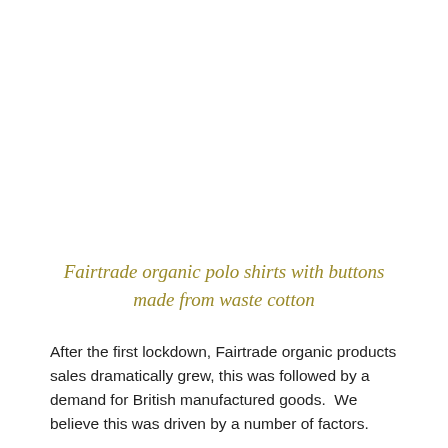Fairtrade organic polo shirts with buttons made from waste cotton
After the first lockdown, Fairtrade organic products sales dramatically grew, this was followed by a demand for British manufactured goods.  We believe this was driven by a number of factors.